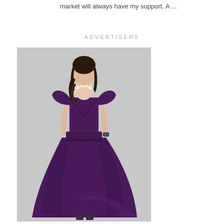market will always have my support. A ...
ADVERTISERS
[Figure (photo): A woman wearing a long flowing dark purple/plum chiffon maxi dress with V-neckline and short cap sleeves, with a pearl necklace and watch accessory, posed against a grey background.]